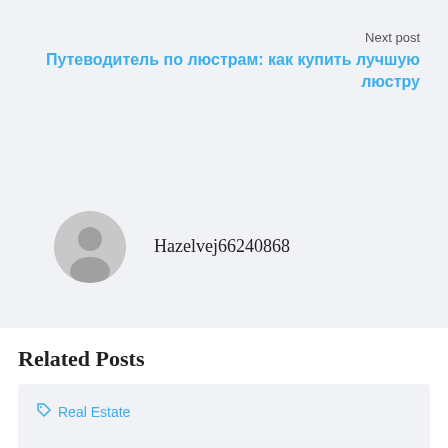Next post
Путеводитель по люстрам: как купить лучшую люстру
Hazelvej66240868
Related Posts
Real Estate